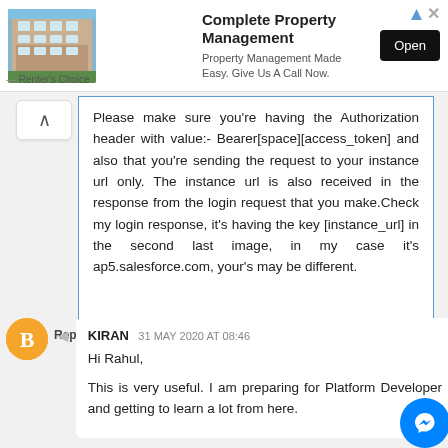[Figure (screenshot): Ad banner for Complete Property Management showing apartment building image, title, subtitle, and Open button]
Please make sure you're having the Authorization header with value:- Bearer[space][access_token] and also that you're sending the request to your instance url only. The instance url is also received in the response from the login request that you make.Check my login response, it's having the key [instance_url] in the second last image, in my case it's ap5.salesforce.com, your's may be different.
Reply
KIRAN 31 MAY 2020 AT 08:46
Hi Rahul,

This is very useful. I am preparing for Platform Developer and getting to learn a lot from here.